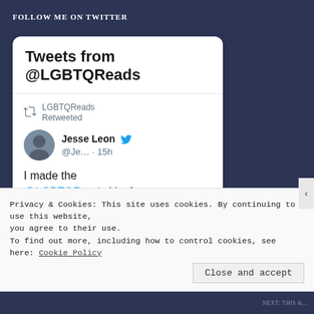FOLLOW ME ON TWITTER
[Figure (screenshot): Twitter widget showing 'Tweets from @LGBTQReads'. Contains a retweet by LGBTQReads of Jesse Leon's tweet. Jesse Leon's tweet reads: 'I made the @LGBTQReads List for August (#23 based on release date)!! Thank you']
Privacy & Cookies: This site uses cookies. By continuing to use this website, you agree to their use.
To find out more, including how to control cookies, see here: Cookie Policy
Close and accept